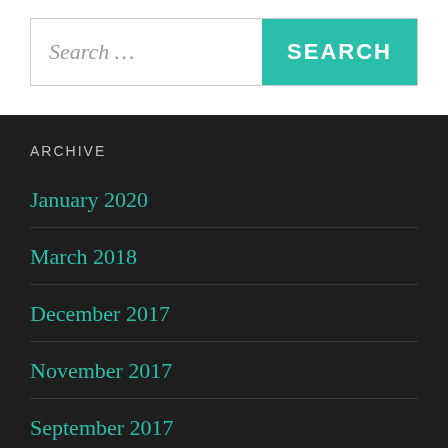Search …
ARCHIVE
January 2020
March 2018
December 2017
November 2017
September 2017